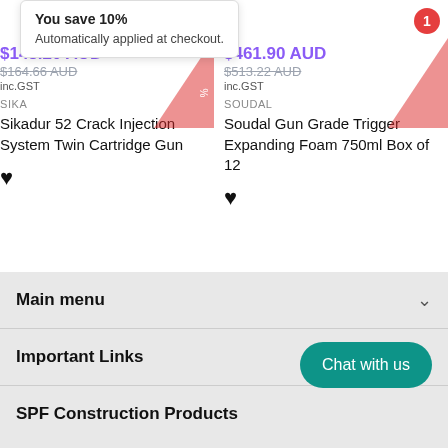You save 10%
Automatically applied at checkout.
$148.20 AUD
$164.66 AUD
inc.GST
SIKA
Sikadur 52 Crack Injection System Twin Cartridge Gun
$461.90 AUD
$513.22 AUD
inc.GST
SOUDAL
Soudal Gun Grade Trigger Expanding Foam 750ml Box of 12
Main menu
Important Links
SPF Construction Products
Chat with us